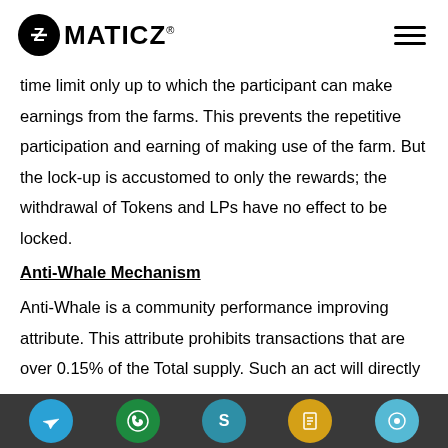ZMATICZ
time limit only up to which the participant can make earnings from the farms. This prevents the repetitive participation and earning of making use of the farm. But the lock-up is accustomed to only the rewards; the withdrawal of Tokens and LPs have no effect to be locked.
Anti-Whale Mechanism
Anti-Whale is a community performance improving attribute. This attribute prohibits transactions that are over 0.15% of the Total supply. Such an act will directly i... of th... of this ...% hi... community. The Anti-Whale will b... community til...